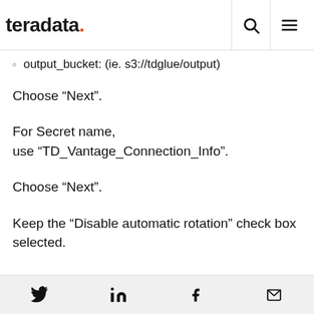teradata. [search icon] [menu icon]
output_bucket: (ie. s3://tdglue/output)
Choose “Next”.
For Secret name,
use “TD_Vantage_Connection_Info”.
Choose “Next”.
Keep the “Disable automatic rotation” check box selected.
Twitter | LinkedIn | Facebook | Email